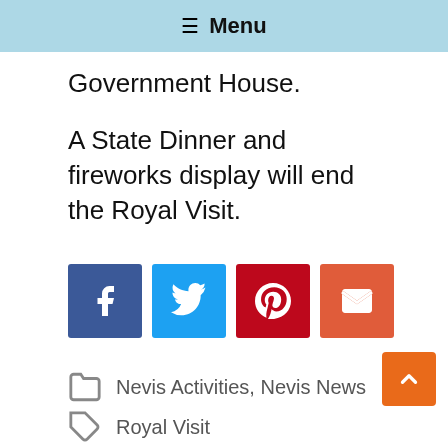Menu
Government House.
A State Dinner and fireworks display will end the Royal Visit.
[Figure (infographic): Social share buttons: Facebook, Twitter, Pinterest, Email]
Nevis Activities, Nevis News
Royal Visit
< St. Kitts – Nevis Ready For Royal V
> St. Paul's Day Care Centre